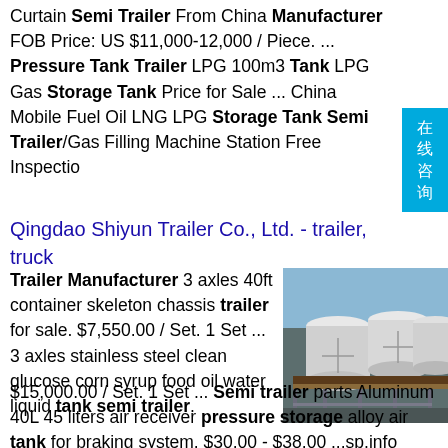Curtain Semi Trailer From China Manufacturer FOB Price: US $11,000-12,000 / Piece. ... Pressure Tank Trailer LPG 100m3 Tank LPG Gas Storage Tank Price for Sale ... China Mobile Fuel Oil LNG LPG Storage Tank Semi Trailer/Gas Filling Machine Station Free Inspection
Qingdao Shiyun Trailer Co., Ltd. - trailer, truck
Trailer Manufacturer 3 axles 40ft container skeleton chassis trailer for sale. $7,550.00 / Set. 1 Set ... 3 axles stainless steel clean glucose corn syrup food oil water liquid tank semi trailer. $15,000.00 / Set. 1 Set ... Semi trailer parts Aluminum 40L 45 liters air receiver pressure storage alloy air tank for braking system. $30.00 - $38.00 ...sp.info China Fuel Tank manufacturer, LPG Tank, Water Tank ...Fuel Tank, LPG Tank, Water Tank manufacturer /
[Figure (photo): Industrial storage tank facility with multiple large white cylindrical tanks and metal framework structure.]